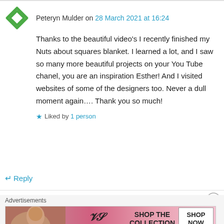Peteryn Mulder on 28 March 2021 at 16:24
Thanks to the beautiful video's I recently finished my Nuts about squares blanket. I learned a lot, and I saw so many more beautiful projects on your You Tube chanel, you are an inspiration Esther! And I visited websites of some of the designers too. Never a dull moment again…. Thank you so much!
Liked by 1 person
Reply
Advertisements
[Figure (other): Victoria's Secret advertisement banner with pink background, model photo, VS logo, 'SHOP THE COLLECTION' text and 'SHOP NOW' button]